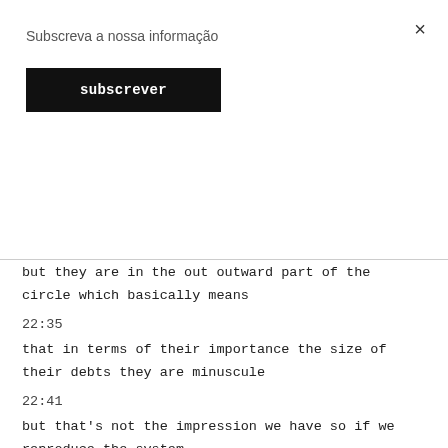Subscreva a nossa informação
subscrever
but they are in the out outward part of the circle which basically means
22:35
that in terms of their importance the size of their debts they are minuscule
22:41
but that's not the impression we have so if we reproduce the system